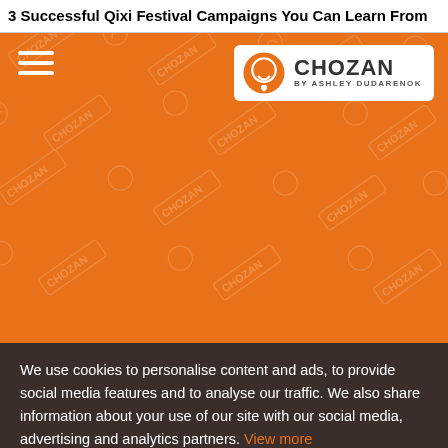3 Successful Qixi Festival Campaigns You Can Learn From
[Figure (screenshot): Orange hero banner with Chozan by Ashley Dudarenok logo in top right, hamburger menu icon in top left, and repeating Chozan watermark pattern across the orange background]
We use cookies to personalise content and ads, to provide social media features and to analyse our traffic. We also share information about your use of our site with our social media, advertising and analytics partners. View more
✓ Accept